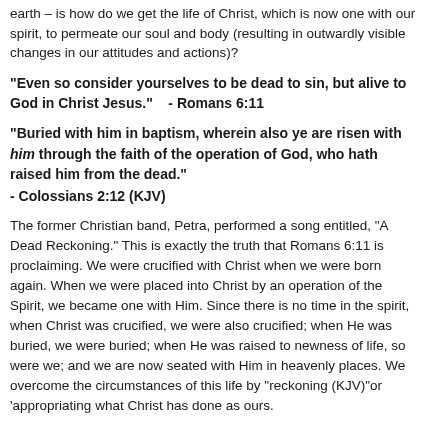earth – is how do we get the life of Christ, which is now one with our spirit, to permeate our soul and body (resulting in outwardly visible changes in our attitudes and actions)?
“Even so consider yourselves to be dead to sin, but alive to God in Christ Jesus.”    - Romans 6:11
“Buried with him in baptism, wherein also ye are risen with him through the faith of the operation of God, who hath raised him from the dead.” - Colossians 2:12 (KJV)
The former Christian band, Petra, performed a song entitled, “A Dead Reckoning.” This is exactly the truth that Romans 6:11 is proclaiming. We were crucified with Christ when we were born again. When we were placed into Christ by an operation of the Spirit, we became one with Him. Since there is no time in the spirit, when Christ was crucified, we were also crucified; when He was buried, we were buried; when He was raised to newness of life, so were we; and we are now seated with Him in heavenly places. We overcome the circumstances of this life by “reckoning (KJV)”or ‘appropriating what Christ has done as ours.